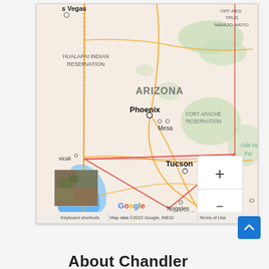[Figure (map): Google Maps screenshot showing the state of Arizona, USA. Visible cities include Phoenix, Mesa, Tucson, Nogales. Also shows Las Vegas (top left), Mexicali (left), parts of Sonora (Mexico). Labels include Hualapai Indian Reservation, Fort Apache Reservation, Navajo Nation (top right), Gila National Forest, Off-Reservation Trust Land. A red triangle/border line is drawn on the map. Map controls (zoom +/-) visible bottom right. Map thumbnail inset bottom left corner. Google logo and copyright 2022 visible. Footer text: Keyboard shortcuts | Map data ©2022 Google, INEGI | Terms of Use]
[Figure (other): Blue back-to-top button (chevron/arrow up icon) in bottom right corner]
About Chandler...